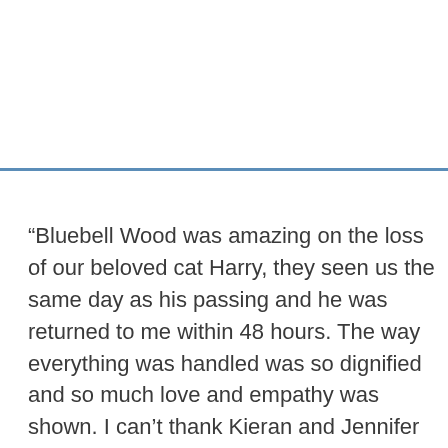“Bluebell Wood was amazing on the loss of our beloved cat Harry, they seen us the same day as his passing and he was returned to me within 48 hours. The way everything was handled was so dignified and so much love and empathy was shown. I can’t thank Kieran and Jennifer enough for everything. We will miss him terribly, but it is